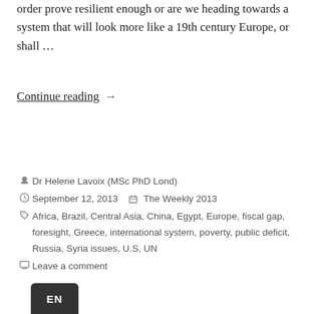order prove resilient enough or are we heading towards a system that will look more like a 19th century Europe, or shall …
Continue reading →
Dr Helene Lavoix (MSc PhD Lond)
September 12, 2013   The Weekly 2013
Africa, Brazil, Central Asia, China, Egypt, Europe, fiscal gap, foresight, Greece, international system, poverty, public deficit, Russia, Syria issues, U.S, UN
Leave a comment
[Figure (other): EN language selector button, dark rounded rectangle with white EN text]